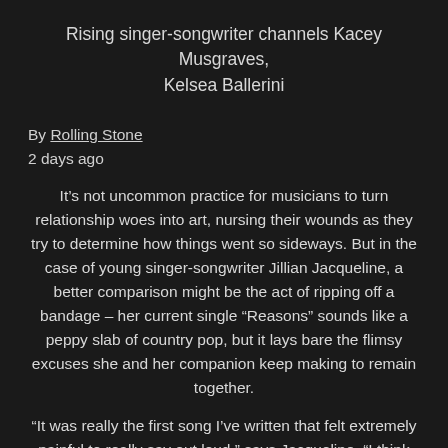Rising singer-songwriter channels Kacey Musgraves, Kelsea Ballerini
By Rolling Stone
2 days ago
It’s not uncommon practice for musicians to turn relationship woes into art, nursing their wounds as they try to determine how things went so sideways. But in the case of young singer-songwriter Jillian Jacqueline, a better comparison might be the act of ripping off a bandage – her current single “Reasons” sounds like a peppy slab of country pop, but it lays bare the flimsy excuses she and her companion keep making to remain together.
“It was really the first song I’ve written that felt extremely painful to really say out loud,” says Jacqueline. “I think for a long time I avoided wanting to really open that box. Then when I did, the song came…